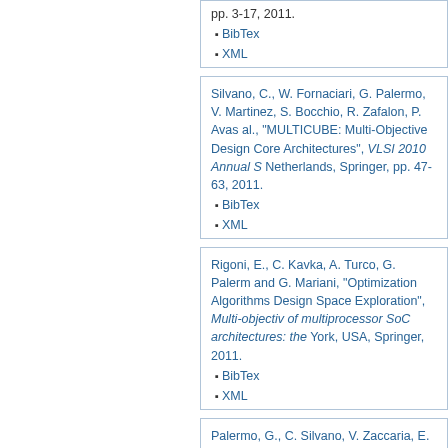pp. 3-17, 2011.
BibTex
XML
Silvano, C., W. Fornaciari, G. Palermo, V. Martinez, S. Bocchio, R. Zafalon, P. Avastha et al., "MULTICUBE: Multi-Objective Design Space Exploration of Multi-Core Architectures", VLSI 2010 Annual Symposium, Netherlands, Springer, pp. 47-63, 2011.
BibTex
XML
Rigoni, E., C. Kavka, A. Turco, G. Palermo, and G. Mariani, "Optimization Algorithms for Design Space Exploration", Multi-objective optimization of multiprocessor SoC architectures: the MULTICUBE approach, New York, USA, Springer, 2011.
BibTex
XML
Palermo, G., C. Silvano, V. Zaccaria, E. R. and G. Mariani, "Response Surface Models for Design Space Exploration", Multi-objective optimization of multiprocessor SoC architectures: the